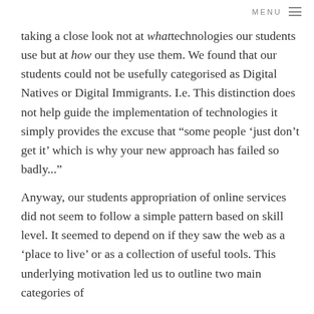MENU
taking a close look not at what technologies our students use but at how our they use them. We found that our students could not be usefully categorised as Digital Natives or Digital Immigrants. I.e. This distinction does not help guide the implementation of technologies it simply provides the excuse that “some people ‘just don’t get it’ which is why your new approach has failed so badly...”
Anyway, our students appropriation of online services did not seem to follow a simple pattern based on skill level. It seemed to depend on if they saw the web as a ‘place to live’ or as a collection of useful tools. This underlying motivation led us to outline two main categories of